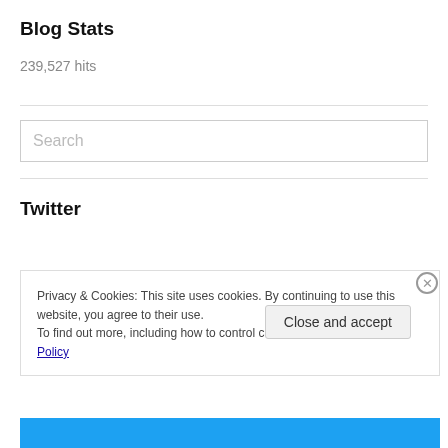Blog Stats
239,527 hits
[Figure (screenshot): Search input box with placeholder text 'Search']
Twitter
Privacy & Cookies: This site uses cookies. By continuing to use this website, you agree to their use.
To find out more, including how to control cookies, see here: Cookie Policy
Close and accept